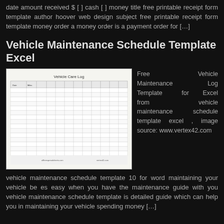date amount received $ [ ] cash [ ] money title free printable receipt form template author hoover web design subject free printable receipt form template money order a money order is a payment order for […]
Vehicle Maintenance Schedule Template Excel
[Figure (screenshot): Screenshot of a Vehicle Care Log spreadsheet template with rows and columns for tracking vehicle maintenance.]
Free Vehicle Maintenance Log Template for Excel from vehicle maintenance schedule template excel , image source: www.vertex42.com
vehicle maintenance schedule template 10 for word maintaining your vehicle be es easy when you have the maintenance guide with you vehicle maintenance schedule template is detailed guide which can help you in maintaining your vehicle spending money […]